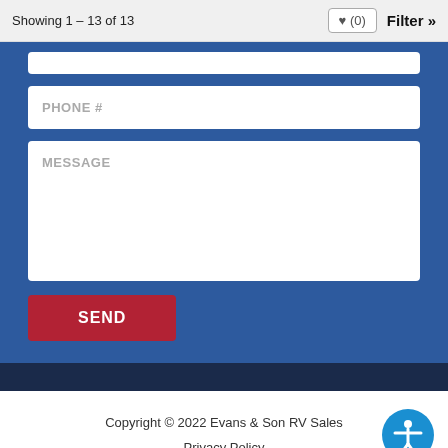Showing 1 – 13 of 13   ♥ (0)   Filter »
[Figure (screenshot): Contact form with PHONE # input field and MESSAGE textarea on a blue background, plus a red SEND button]
Copyright © 2022 Evans & Son RV Sales
Privacy Policy
Sold RVs
RV Dealer Website Design